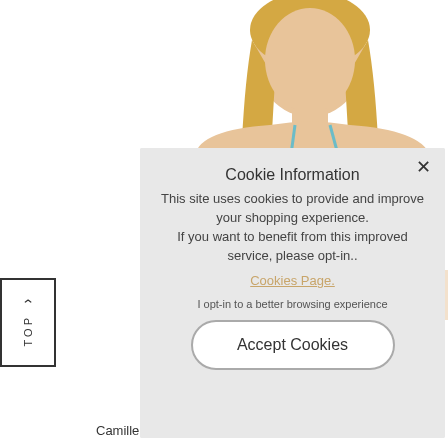[Figure (photo): A blonde woman wearing a blue and white polka dot swimsuit/bikini top, photographed from the torso up against a white background.]
TOP
Camille
Cookie Information
This site uses cookies to provide and improve your shopping experience.
If you want to benefit from this improved service, please opt-in..
Cookies Page.
I opt-in to a better browsing experience
Accept Cookies